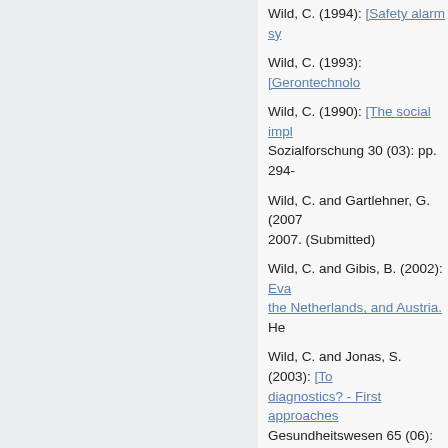Wild, C. (1994): [Safety alarm sy...
Wild, C. (1993): [Gerontechnolo...
Wild, C. (1990): [The social impl... Sozialforschung 30 (03): pp. 294-
Wild, C. and Gartlehner, G. (2007... 2007. (Submitted)
Wild, C. and Gibis, B. (2002): [Eva... the Netherlands, and Austria. He
Wild, C. and Jonas, S. (2003): [To... diagnostics? - First approaches ... Gesundheitswesen 65 (06): pp.
Wild, C. and Jonas, S. (2002): [Pr... Österreichischen Gesellschaft fü
Wild, C. and Jonas, S. (2001): [He... the example of erythropoietin i
Wild, C. and Jonas, S. (2000): [Er... Gesellschaft für Public Health...